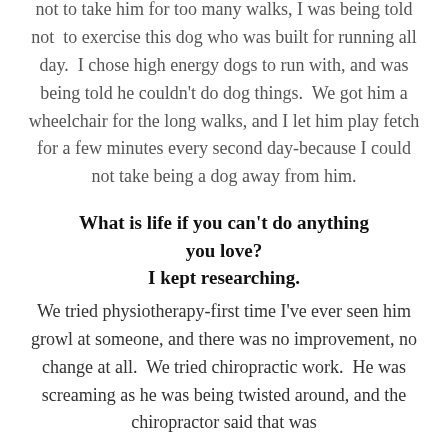not to take him for too many walks, I was being told not to exercise this dog who was built for running all day.  I chose high energy dogs to run with, and was being told he couldn't do dog things.  We got him a wheelchair for the long walks, and I let him play fetch for a few minutes every second day-because I could not take being a dog away from him.
What is life if you can't do anything you love?
I kept researching.
We tried physiotherapy-first time I've ever seen him growl at someone, and there was no improvement, no change at all.  We tried chiropractic work.  He was screaming as he was being twisted around, and the chiropractor said that was